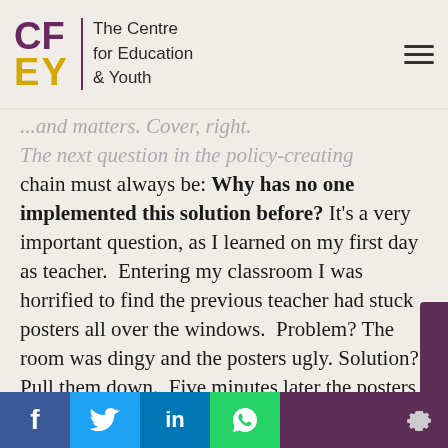The Centre for Education & Youth
chain must always be: Why has no one implemented this solution before? It's a very important question, as I learned on my first day as teacher. Entering my classroom I was horrified to find the previous teacher had stuck posters all over the windows. Problem? The room was dingy and the posters ugly. Solution? Pull them down. Five minutes later the posters were gone, my room was beautifully lit and I felt triumphant. That triumph lasted until approximately 1pm when the sun moved and streamed straight into the delicate eyes of my Year 9s. They couldn't see, they became hot, I became hot, they wanted to move seats, nothing on the whiteboard showed up, and so on. Turns out there was a very good reason for those ugly posters after all and by 3pm I was sheepishly re-tracing my steps with a very ladder and some sellotape in tow.
Share buttons: Facebook, Twitter, LinkedIn, WhatsApp